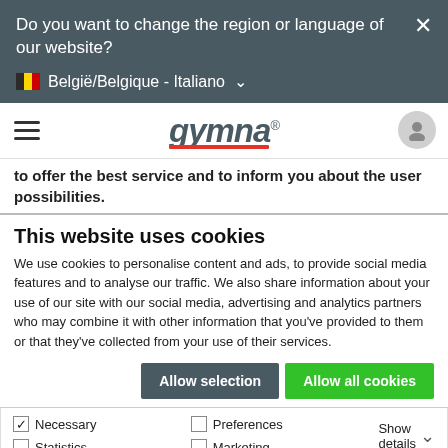Do you want to change the region or language of our website?
België/Belgique - Italiano
[Figure (logo): Gymna logo with italic bold text and red underline]
to offer the best service and to inform you about the user possibilities.
This website uses cookies
We use cookies to personalise content and ads, to provide social media features and to analyse our traffic. We also share information about your use of our site with our social media, advertising and analytics partners who may combine it with other information that you've provided to them or that they've collected from your use of their services.
Allow selection | Allow all cookies
Necessary | Preferences | Statistics | Marketing | Show details